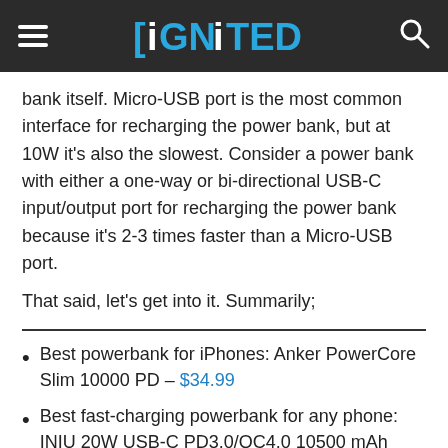iGNiTED
bank itself. Micro-USB port is the most common interface for recharging the power bank, but at 10W it's also the slowest. Consider a power bank with either a one-way or bi-directional USB-C input/output port for recharging the power bank because it's 2-3 times faster than a Micro-USB port.
That said, let's get into it. Summarily;
Best powerbank for iPhones: Anker PowerCore Slim 10000 PD – $34.99
Best fast-charging powerbank for any phone: INIU 20W USB-C PD3.0/QC4.0 10500 mAh Power Bank – $25.99